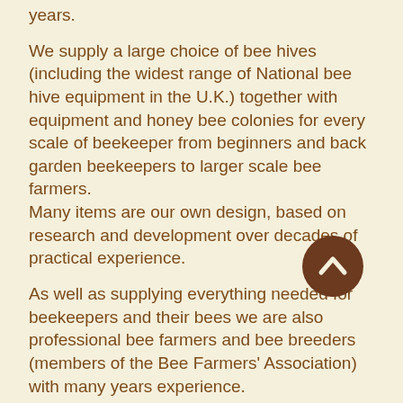years.
We supply a large choice of bee hives (including the widest range of National bee hive equipment in the U.K.) together with equipment and honey bee colonies for every scale of beekeeper from beginners and back garden beekeepers to larger scale bee farmers.
Many items are our own design, based on research and development over decades of practical experience.
As well as supplying everything needed for beekeepers and their bees we are also professional bee farmers and bee breeders (members of the Bee Farmers' Association) with many years experience.
In this time we have passed on thousands of honey bee colonies, providing consultancy to help others start beekeeping and establish and expand their own apiaries.
Besides beekeeping, we are passionate about the wider natural environment...